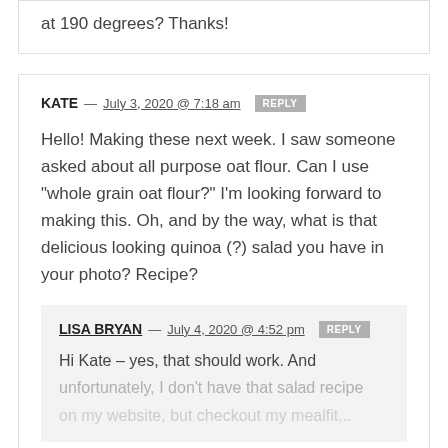at 190 degrees? Thanks!
KATE — July 3, 2020 @ 7:18 am  REPLY
Hello! Making these next week. I saw someone asked about all purpose oat flour. Can I use “whole grain oat flour?” I’m looking forward to making this. Oh, and by the way, what is that delicious looking quinoa (?) salad you have in your photo? Recipe?
LISA BRYAN — July 4, 2020 @ 4:52 pm  REPLY
Hi Kate – yes, that should work. And unfortunately, I don’t have that salad recipe on my website, but checkout my mealfit...